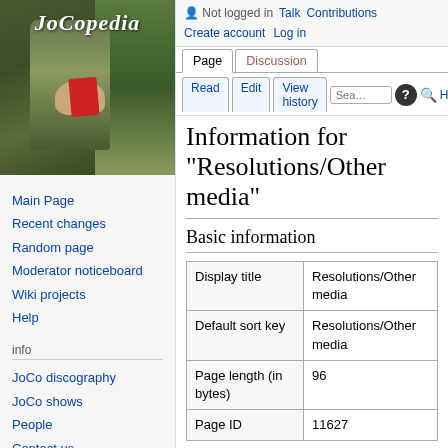[Figure (photo): JoCopedia wiki logo with photo of person holding a red book/pamphlet outdoors, with script text 'JoCopedia' overlaid]
Main Page
Recent changes
Random page
Moderator noticeboard
Wiki projects
Help
info
JoCo discography
JoCo shows
People
Contact us
external links
Not logged in  Talk  Contributions  Create account  Log in
Information for "Resolutions/Other media"
Basic information
|  |  |
| --- | --- |
| Display title | Resolutions/Other media |
| Default sort key | Resolutions/Other media |
| Page length (in bytes) | 96 |
| Page ID | 11627 |